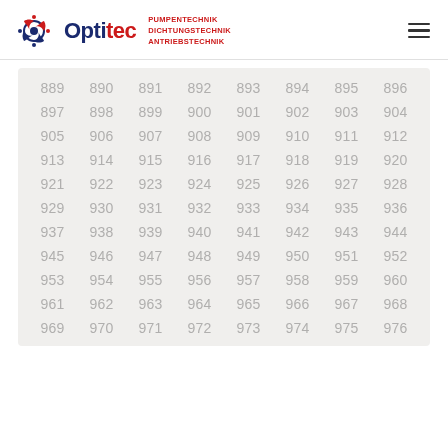Optitec — PUMPENTECHNIK DICHTUNGSTECHNIK ANTRIEBSTECHNIK
| 889 | 890 | 891 | 892 | 893 | 894 | 895 | 896 |
| 897 | 898 | 899 | 900 | 901 | 902 | 903 | 904 |
| 905 | 906 | 907 | 908 | 909 | 910 | 911 | 912 |
| 913 | 914 | 915 | 916 | 917 | 918 | 919 | 920 |
| 921 | 922 | 923 | 924 | 925 | 926 | 927 | 928 |
| 929 | 930 | 931 | 932 | 933 | 934 | 935 | 936 |
| 937 | 938 | 939 | 940 | 941 | 942 | 943 | 944 |
| 945 | 946 | 947 | 948 | 949 | 950 | 951 | 952 |
| 953 | 954 | 955 | 956 | 957 | 958 | 959 | 960 |
| 961 | 962 | 963 | 964 | 965 | 966 | 967 | 968 |
| 969 | 970 | 971 | 972 | 973 | 974 | 975 | 976 |